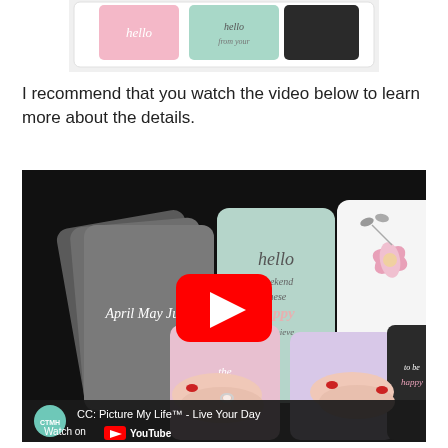[Figure (photo): Top portion of a photo showing decorative cards — pink, mint, and black — with calligraphy text including 'hello', partially cropped at top of page.]
I recommend that you watch the video below to learn more about the details.
[Figure (screenshot): YouTube video thumbnail for 'CC: Picture My Life™ - Live Your Day'. Shows hands holding decorative calligraphy cards on a dark background — grey cards with 'April May June', mint/teal card with 'hello', white card with floral design, pink cards, lavender card. A red YouTube play button is in the center. Bottom bar shows CTMH channel logo (teal circle), video title, 'Watch on YouTube' text with YouTube logo.]